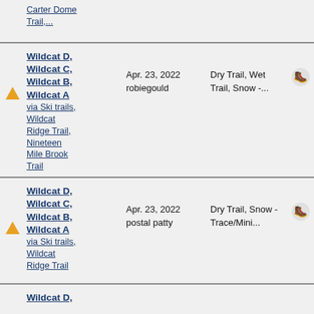Carter Dome Trail,...
Wildcat D, Wildcat C, Wildcat B, Wildcat A via Ski trails, Wildcat Ridge Trail, Nineteen Mile Brook Trail | Apr. 23, 2022 robiegould | Dry Trail, Wet Trail, Snow -...
Wildcat D, Wildcat C, Wildcat B, Wildcat A via Ski trails, Wildcat Ridge Trail | Apr. 23, 2022 postal patty | Dry Trail, Snow - Trace/Mini...
Wildcat D,...